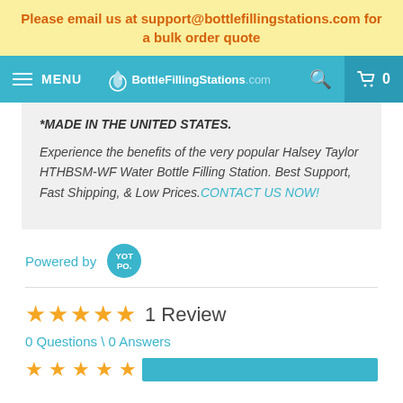Please email us at support@bottlefillingstations.com for a bulk order quote
[Figure (screenshot): Navigation bar with hamburger menu, MENU label, BottleFillingStations.com logo with water drop icon, search icon, and cart icon with 0 count]
*MADE IN THE UNITED STATES.
Experience the benefits of the very popular Halsey Taylor HTHBSM-WF Water Bottle Filling Station. Best Support, Fast Shipping, & Low Prices.CONTACT US NOW!
Powered by YOTPO
★★★★★  1  Review
0 Questions \ 0 Answers